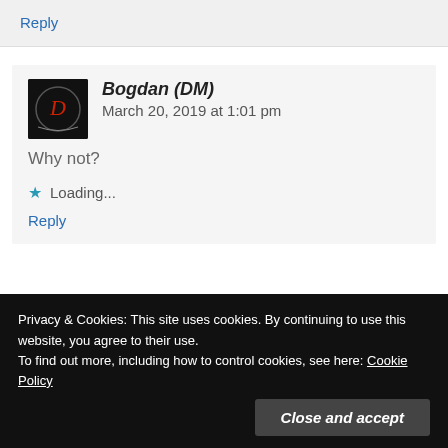Reply
Bogdan (DM)   March 20, 2019 at 1:01 pm
Why not?
Loading...
Reply
Privacy & Cookies: This site uses cookies. By continuing to use this website, you agree to their use. To find out more, including how to control cookies, see here: Cookie Policy
Close and accept